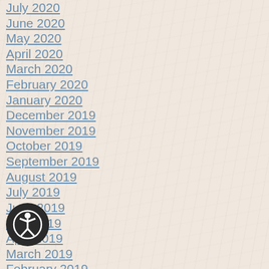July 2020
June 2020
May 2020
April 2020
March 2020
February 2020
January 2020
December 2019
November 2019
October 2019
September 2019
August 2019
July 2019
June 2019
May 2019
April 2019
March 2019
February 2019
January 2019
December 2018
November 2018
October 2018
September 2018